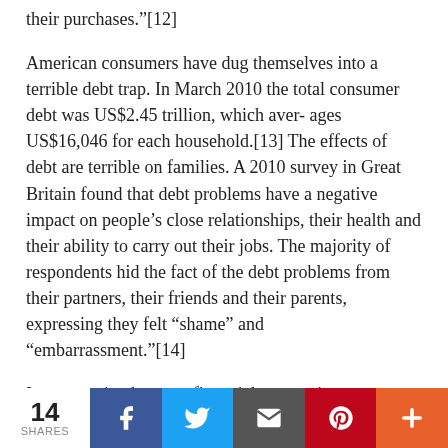their purchases."[12]
American consumers have dug themselves into a terrible debt trap. In March 2010 the total consumer debt was US$2.45 trillion, which aver- ages US$16,046 for each household.[13] The effects of debt are terrible on families. A 2010 survey in Great Britain found that debt problems have a negative impact on people's close relationships, their health and their ability to carry out their jobs. The majority of respondents hid the fact of the debt problems from their partners, their friends and their parents, expressing they felt “shame” and “embarrassment.”[14]
It gets nastier, because financial companies prey on people who urgently need loans to pay for health care and other necessities. Lenders use unfair, deceptive, or fraudulent practices to induce people to take on more and more high-
14 SHARES